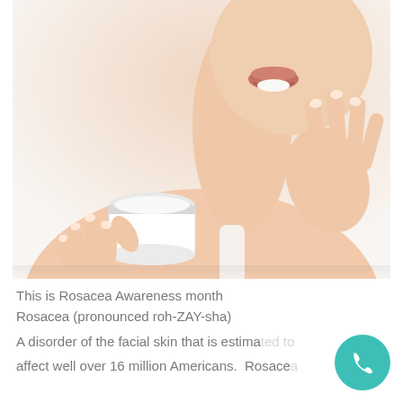[Figure (photo): A woman smiling and applying cream from a white jar to her face with her fingers against a white background]
This is Rosacea Awareness month
Rosacea (pronounced roh-ZAY-sha)
A disorder of the facial skin that is estimated to affect well over 16 million Americans.  Rosacea